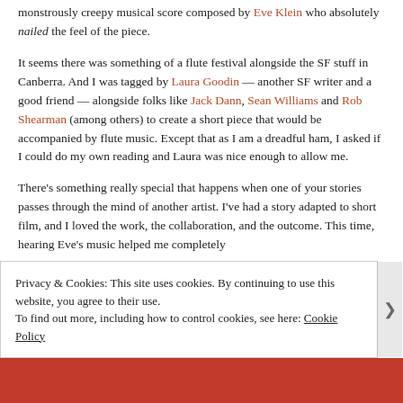monstrously creepy musical score composed by Eve Klein who absolutely nailed the feel of the piece.
It seems there was something of a flute festival alongside the SF stuff in Canberra. And I was tagged by Laura Goodin — another SF writer and a good friend — alongside folks like Jack Dann, Sean Williams and Rob Shearman (among others) to create a short piece that would be accompanied by flute music. Except that as I am a dreadful ham, I asked if I could do my own reading and Laura was nice enough to allow me.
There's something really special that happens when one of your stories passes through the mind of another artist. I've had a story adapted to short film, and I loved the work, the collaboration, and the outcome. This time, hearing Eve's music helped me completely
Privacy & Cookies: This site uses cookies. By continuing to use this website, you agree to their use.
To find out more, including how to control cookies, see here: Cookie Policy
Close and accept